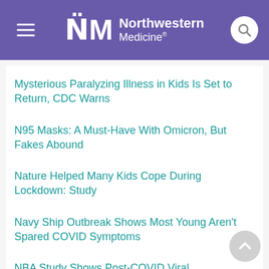Northwestern Medicine
Mysterious Paralyzing Illness in Kids Is Set to Return, CDC Warns
N95 Masks: A Must-Have With Omicron, But Fakes Abound
Nature Helped Many Kids Cope During Lockdown: Study
Navy Ship Outbreak Shows Most Young Aren't Spared COVID Symptoms
NBA Study Shows Post-COVID Viral Transmission Rare, Even With Positive Test
Nearly 130,000 U.S. Lives Saved by March if Everyone Wore Masks: Study
Nearly 600,000 U.S. Kids Had COVID Last Week